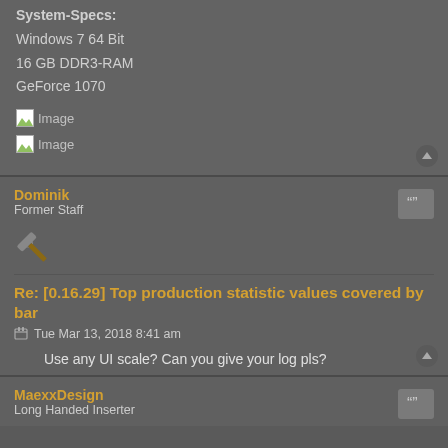System-Specs:
Windows 7 64 Bit
16 GB DDR3-RAM
GeForce 1070
[Figure (other): Broken image placeholder labeled 'Image']
[Figure (other): Broken image placeholder labeled 'Image']
Dominik
Former Staff
[Figure (illustration): Pickaxe icon/avatar for user Dominik]
Re: [0.16.29] Top production statistic values covered by bar
Tue Mar 13, 2018 8:41 am
Use any UI scale? Can you give your log pls?
MaexxDesign
Long Handed Inserter